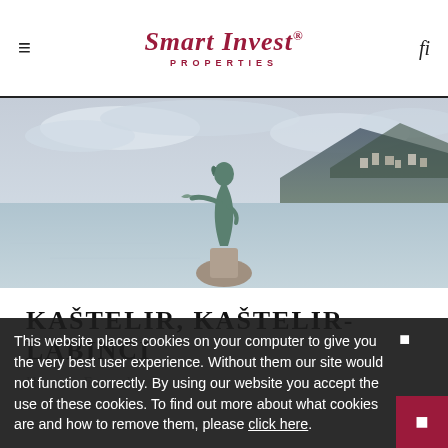Smart Invest® PROPERTIES
[Figure (photo): Outdoor coastal photo showing a bronze female statue holding a seagull, positioned on a rock by the sea, with mountains and coastal town in the background under a cloudy sky.]
KAŠTELIR, KAŠTELIR-LABINCI
House · For sale
This website places cookies on your computer to give you the very best user experience. Without them our site would not function correctly. By using our website you accept the use of these cookies. To find out more about what cookies are and how to remove them, please click here.